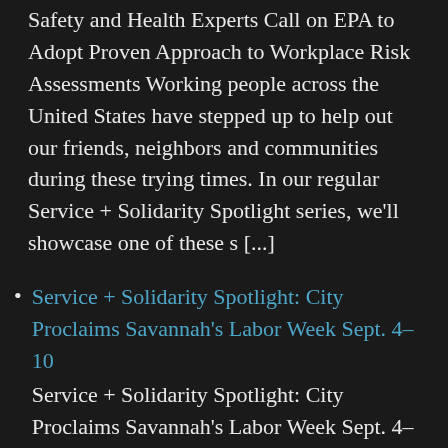Safety and Health Experts Call on EPA to Adopt Proven Approach to Workplace Risk Assessments Working people across the United States have stepped up to help out our friends, neighbors and communities during these trying times. In our regular Service + Solidarity Spotlight series, we'll showcase one of these s [...]
Service + Solidarity Spotlight: City Proclaims Savannah's Labor Week Sept. 4–10
Service + Solidarity Spotlight: City Proclaims Savannah's Labor Week Sept. 4–10 Working people across the United States have stepped up to help out our friends, neighbors and communities during these trying times. In